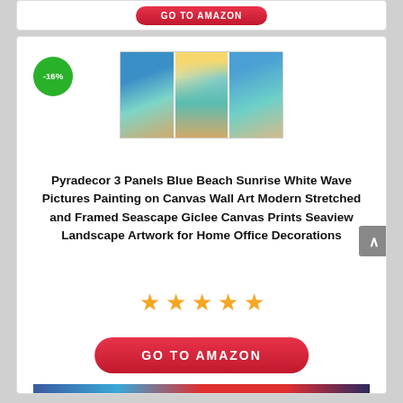[Figure (other): Red GO TO AMAZON button at top of page]
[Figure (other): -16% green discount badge]
[Figure (photo): 3-panel canvas art showing blue beach sunrise with white waves and sandy shore]
Pyradecor 3 Panels Blue Beach Sunrise White Wave Pictures Painting on Canvas Wall Art Modern Stretched and Framed Seascape Giclee Canvas Prints Seaview Landscape Artwork for Home Office Decorations
[Figure (other): 5 orange star rating]
[Figure (other): Red GO TO AMAZON button]